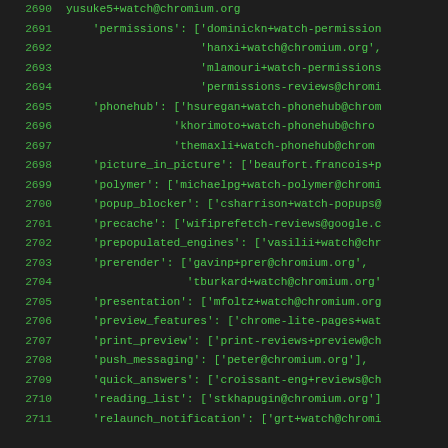Code listing lines 2690-2711 showing Python/JSON dictionary entries with watch email addresses for chromium project components including permissions, phonehub, picture_in_picture, polymer, popup_blocker, precache, prepopulated_engines, prerender, presentation, preview_features, print_preview, push_messaging, quick_answers, reading_list, relaunch_notification